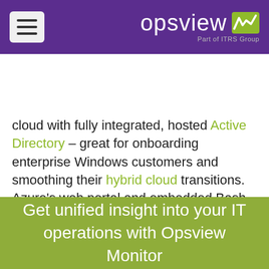opsview — Part of ITRS Group
cloud with fully integrated, hosted Active Directory – great for onboarding enterprise Windows customers and smoothing their hybrid cloud transitions. Azure's web portal and embedded Bash or PowerShell-based management CLI are easier than competitors' to use. While the total scope of services offered isn't as staggering as Amazon's portfolio, the latest tech is all in place -- DBaaS, FaaS, VPNaaS, Kubernetes/Docker, serverless functions, etc. So is strong integration with Visual Studio team development.
Get unified insight into your IT operations with Opsview Monitor